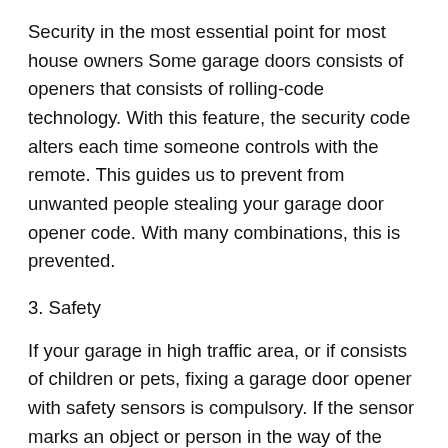Security in the most essential point for most house owners Some garage doors consists of openers that consists of rolling-code technology. With this feature, the security code alters each time someone controls with the remote. This guides us to prevent from unwanted people stealing your garage door opener code. With many combinations, this is prevented.
3. Safety
If your garage in high traffic area, or if consists of children or pets, fixing a garage door opener with safety sensors is compulsory. If the sensor marks an object or person in the way of the door while it is closing, it will stop or reverse the way of directions.
4. The Cost
Cost may not be the only point in selecting your